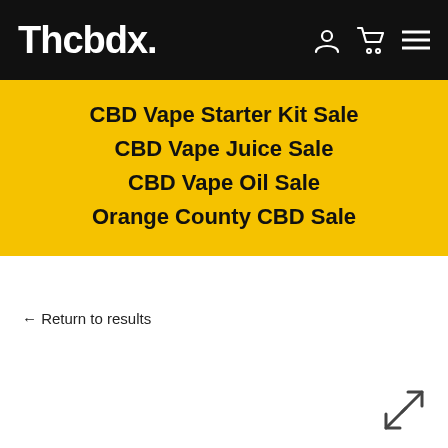Thcbdx.
CBD Vape Starter Kit Sale
CBD Vape Juice Sale
CBD Vape Oil Sale
Orange County CBD Sale
← Return to results
[Figure (illustration): Expand/fullscreen arrows icon]